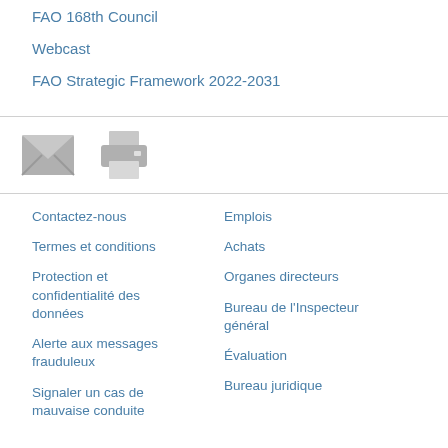FAO 168th Council
Webcast
FAO Strategic Framework 2022-2031
[Figure (illustration): Email envelope icon and printer icon in grey]
Contactez-nous
Termes et conditions
Protection et confidentialité des données
Alerte aux messages frauduleux
Signaler un cas de mauvaise conduite
Emplois
Achats
Organes directeurs
Bureau de l'Inspecteur général
Évaluation
Bureau juridique